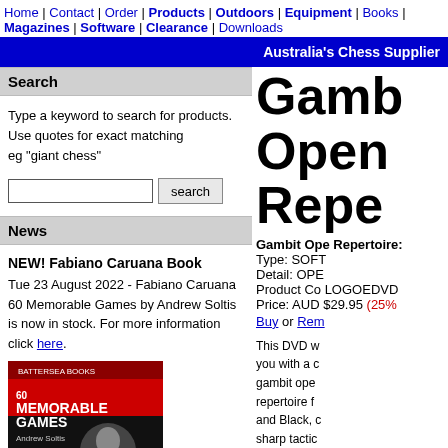Home | Contact | Order | Products | Outdoors | Equipment | Books | Magazines | Software | Clearance | Downloads
Australia's Chess Supplier
Search
Type a keyword to search for products.
Use quotes for exact matching
eg "giant chess"
News
NEW! Fabiano Caruana Book
Tue 23 August 2022 - Fabiano Caruana 60 Memorable Games by Andrew Soltis is now in stock. For more information click here.
[Figure (photo): Book cover of '60 Memorable Games' by Andrew Soltis, red and black cover with chess player photo]
Gamb Open Repe
Gambit Ope Repertoire.
Type: SOFT
Detail: OPE
Product Co LOGOEDVD
Price: AUD $29.95 (25%
Buy or Rem
This DVD w you with a c gambit ope repertoire f and Black, c sharp tactic leading to 0